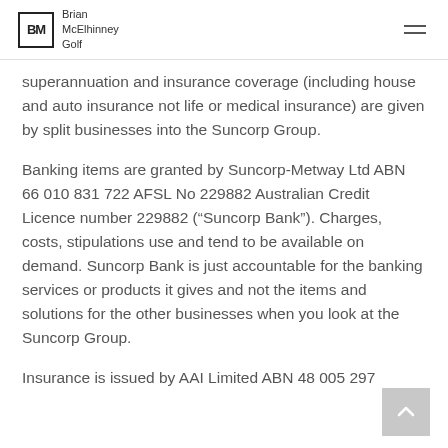Brian McElhinney Golf
superannuation and insurance coverage (including house and auto insurance not life or medical insurance) are given by split businesses into the Suncorp Group.
Banking items are granted by Suncorp-Metway Ltd ABN 66 010 831 722 AFSL No 229882 Australian Credit Licence number 229882 (“Suncorp Bank”). Charges, costs, stipulations use and tend to be available on demand. Suncorp Bank is just accountable for the banking services or products it gives and not the items and solutions for the other businesses when you look at the Suncorp Group.
Insurance is issued by AAI Limited ABN 48 005 297